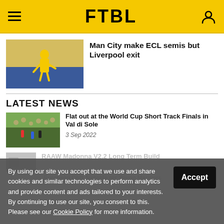FTBL
Man City make ECL semis but Liverpool exit
LATEST NEWS
Flat out at the World Cup Short Track Finals in Val di Sole
3 Sep 2022
RAAW Madonna V2.2 Long Term Build
By using our site you accept that we use and share cookies and similar technologies to perform analytics and provide content and ads tailored to your interests. By continuing to use our site, you consent to this. Please see our Cookie Policy for more information.